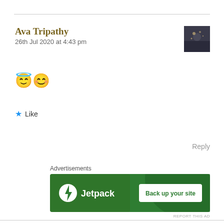Ava Tripathy
26th Jul 2020 at 4:43 pm
[Figure (photo): Avatar photo of Ava Tripathy - dark silhouette scene]
😇😊
★ Like
Reply
Advertisements
[Figure (screenshot): Jetpack advertisement banner - green background with logo and 'Back up your site' button]
REPORT THIS AD
ROJEENA
28th Jul 2020 at 4:09 am
[Figure (photo): Avatar photo of Rojeena - person wearing sunglasses outdoors]